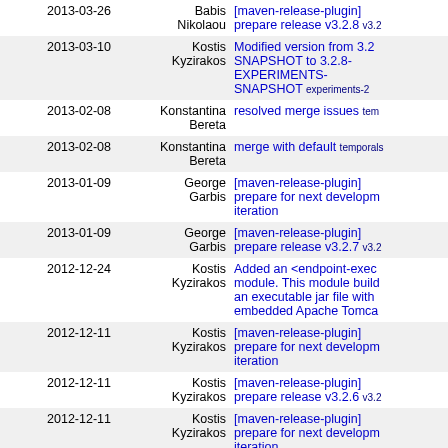| Date | Author | Message |
| --- | --- | --- |
| 2013-03-26 | Babis Nikolaou | [maven-release-plugin] prepare release v3.2.8 v3.2.8 |
| 2013-03-10 | Kostis Kyzirakos | Modified version from 3.2.8-SNAPSHOT to 3.2.8-EXPERIMENTS-SNAPSHOT experiments-2 |
| 2013-02-08 | Konstantina Bereta | resolved merge issues tem |
| 2013-02-08 | Konstantina Bereta | merge with default temporals |
| 2013-01-09 | George Garbis | [maven-release-plugin] prepare for next development iteration |
| 2013-01-09 | George Garbis | [maven-release-plugin] prepare release v3.2.7 v3.2.7 |
| 2012-12-24 | Kostis Kyzirakos | Added an <endpoint-exec> module. This module builds an executable jar file with embedded Apache Tomcat |
| 2012-12-11 | Kostis Kyzirakos | [maven-release-plugin] prepare for next development iteration |
| 2012-12-11 | Kostis Kyzirakos | [maven-release-plugin] prepare release v3.2.6 v3.2.6 |
| 2012-12-11 | Kostis Kyzirakos | [maven-release-plugin] prepare for next development iteration |